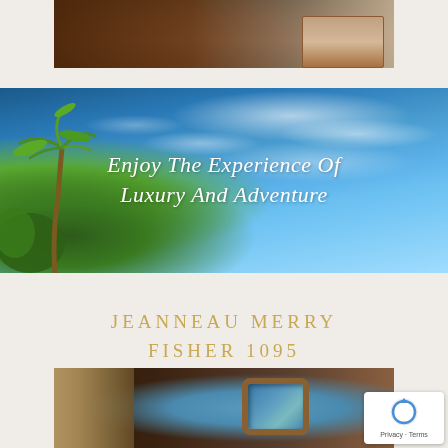[Figure (photo): Interior photo of a boat cabin kitchen area with dark wood cabinetry and appliances]
[Figure (photo): Scenic banner photo showing tropical beach sky with palm tree and white clouds on blue sky, with overlaid italic text 'Enjoy The Experience Of Luxury And Adventure']
Enjoy The Experience Of Luxury And Adventure
JEANNEAU MERRY FISHER 1095 GALLERY
[Figure (photo): Interior photo of boat cabin showing a porthole window with ocean view, curtains, and wood paneling]